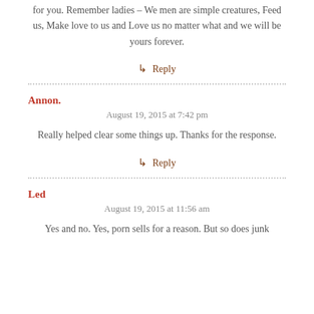for you. Remember ladies – We men are simple creatures, Feed us, Make love to us and Love us no matter what and we will be yours forever.
↳ Reply
Annon.
August 19, 2015 at 7:42 pm
Really helped clear some things up. Thanks for the response.
↳ Reply
Led
August 19, 2015 at 11:56 am
Yes and no. Yes, porn sells for a reason. But so does junk